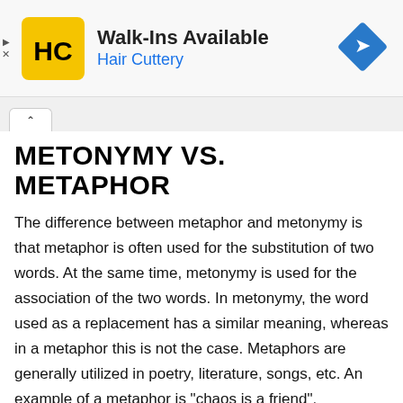[Figure (logo): Hair Cuttery advertisement banner with HC logo, text 'Walk-Ins Available' and 'Hair Cuttery', and a blue navigation arrow icon.]
METONYMY VS. METAPHOR
The difference between metaphor and metonymy is that metaphor is often used for the substitution of two words. At the same time, metonymy is used for the association of the two words. In metonymy, the word used as a replacement has a similar meaning, whereas in a metaphor this is not the case. Metaphors are generally utilized in poetry, literature, songs, etc. An example of a metaphor is "chaos is a friend".